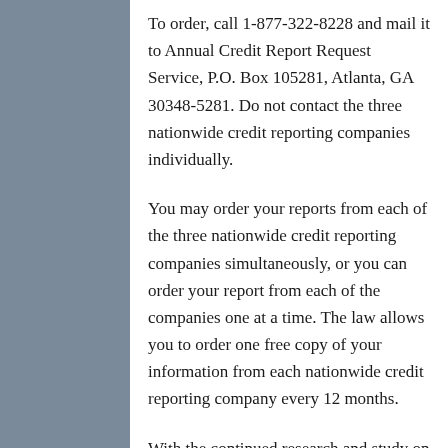To order, call 1-877-322-8228 and mail it to Annual Credit Report Request Service, P.O. Box 105281, Atlanta, GA 30348-5281. Do not contact the three nationwide credit reporting companies individually.
You may order your reports from each of the three nationwide credit reporting companies simultaneously, or you can order your report from each of the companies one at a time. The law allows you to order one free copy of your information from each nationwide credit reporting company every 12 months.
With the continued research and study on the needs of the consumers, these credit scoring bureaus will genuinely make a difference to the lending and insurance world and us as consumers.